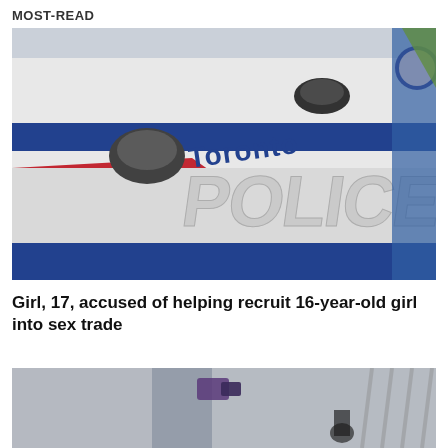MOST-READ
[Figure (photo): Close-up of a Toronto Police car door showing 'Toronto POLICE' text in blue letters on a white vehicle with red and blue stripes]
Girl, 17, accused of helping recruit 16-year-old girl into sex trade
[Figure (photo): Blurry interior/security camera scene, partially visible at bottom of page]